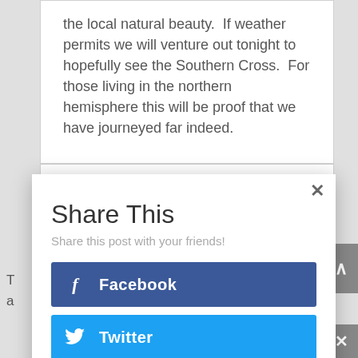the local natural beauty.  If weather permits we will venture out tonight to hopefully see the Southern Cross.  For those living in the northern hemisphere this will be proof that we have journeyed far indeed.
Day 9 - Erewhon Station, New
Share This
Share this post with your friends!
Facebook
Twitter